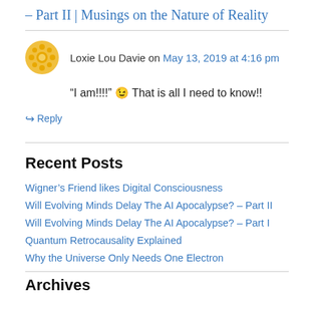– Part II | Musings on the Nature of Reality
Loxie Lou Davie on May 13, 2019 at 4:16 pm
“I am!!!!” 😉 That is all I need to know!!
↪ Reply
Recent Posts
Wigner’s Friend likes Digital Consciousness
Will Evolving Minds Delay The AI Apocalypse? – Part II
Will Evolving Minds Delay The AI Apocalypse? – Part I
Quantum Retrocausality Explained
Why the Universe Only Needs One Electron
Archives